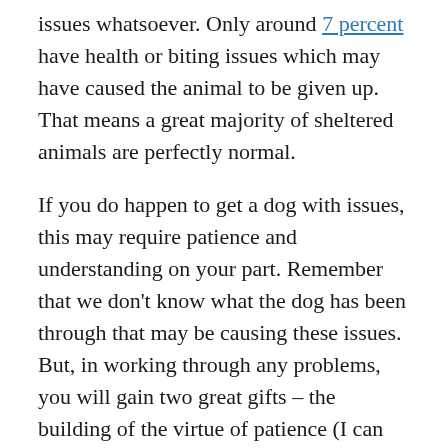issues whatsoever. Only around 7 percent have health or biting issues which may have caused the animal to be given up. That means a great majority of sheltered animals are perfectly normal.
If you do happen to get a dog with issues, this may require patience and understanding on your part. Remember that we don’t know what the dog has been through that may be causing these issues. But, in working through any problems, you will gain two great gifts – the building of the virtue of patience (I can always use more!), and the loyalty and love of a wonderful friend and family member.